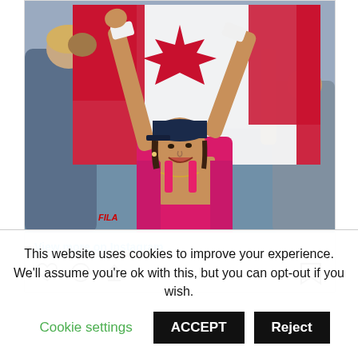[Figure (photo): A female tennis player in a pink/red athletic outfit with arms raised, holding a Canadian flag above her head, celebrating. She wears a dark cap and wristbands. Other people are visible behind her also holding the flag.]
View more on Instagram
[Figure (other): Instagram action icons: heart (like), comment bubble, share arrow, and bookmark icon on the right]
This website uses cookies to improve your experience. We'll assume you're ok with this, but you can opt-out if you wish.
Cookie settings  ACCEPT  Reject